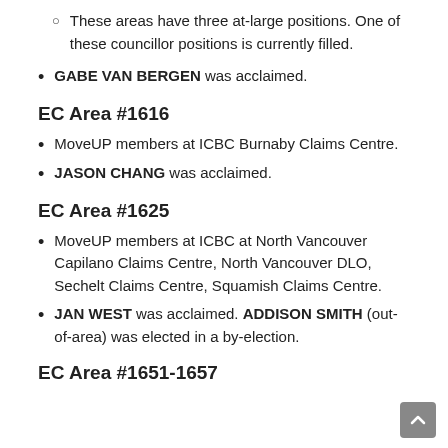These areas have three at-large positions. One of these councillor positions is currently filled.
GABE VAN BERGEN was acclaimed.
EC Area #1616
MoveUP members at ICBC Burnaby Claims Centre.
JASON CHANG was acclaimed.
EC Area #1625
MoveUP members at ICBC at North Vancouver Capilano Claims Centre, North Vancouver DLO, Sechelt Claims Centre, Squamish Claims Centre.
JAN WEST was acclaimed. ADDISON SMITH (out-of-area) was elected in a by-election.
EC Area #1651-1657